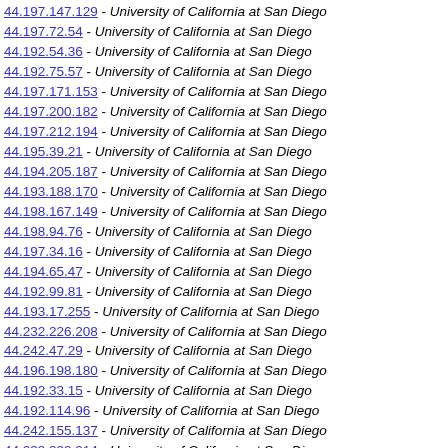44.197.147.129 - University of California at San Diego
44.197.72.54 - University of California at San Diego
44.192.54.36 - University of California at San Diego
44.192.75.57 - University of California at San Diego
44.197.171.153 - University of California at San Diego
44.197.200.182 - University of California at San Diego
44.197.212.194 - University of California at San Diego
44.195.39.21 - University of California at San Diego
44.194.205.187 - University of California at San Diego
44.193.188.170 - University of California at San Diego
44.198.167.149 - University of California at San Diego
44.198.94.76 - University of California at San Diego
44.197.34.16 - University of California at San Diego
44.194.65.47 - University of California at San Diego
44.192.99.81 - University of California at San Diego
44.193.17.255 - University of California at San Diego
44.232.226.208 - University of California at San Diego
44.242.47.29 - University of California at San Diego
44.196.198.180 - University of California at San Diego
44.192.33.15 - University of California at San Diego
44.192.114.96 - University of California at San Diego
44.242.155.137 - University of California at San Diego
44.239.232.214 - University of California at San Diego
44.193.200.182 - University of California at San Diego
44.198.48.30 - University of California at San Diego
44.199.165.147 - University of California at San Diego
44.241.112.94 - University of California at San Diego
44.196.66.48 - University of California at San Diego
44.241.63.45 - University of California at San Diego
44.235.203.185 - University of California at San Diego